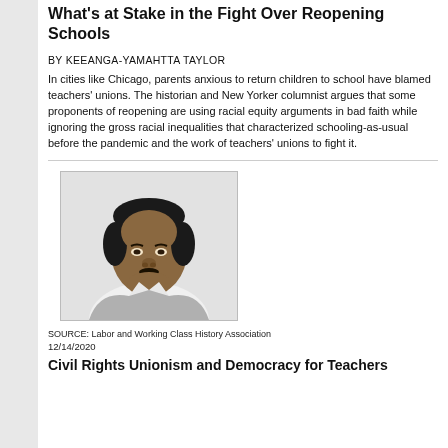What’s at Stake in the Fight Over Reopening Schools
BY KEEANGA-YAMAHTTA TAYLOR
In cities like Chicago, parents anxious to return children to school have blamed teachers’ unions. The historian and New Yorker columnist argues that some proponents of reopening are using racial equity arguments in bad faith while ignoring the gross racial inequalities that characterized schooling-as-usual before the pandemic and the work of teachers’ unions to fight it.
[Figure (photo): Black and white portrait photo of a man, sourced from Labor and Working Class History Association]
SOURCE: Labor and Working Class History Association
12/14/2020
Civil Rights Unionism and Democracy for Teachers